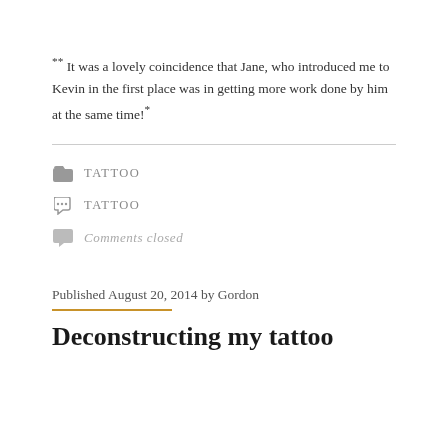** It was a lovely coincidence that Jane, who introduced me to Kevin in the first place was in getting more work done by him at the same time!*
TATTOO
TATTOO
Comments closed
Published August 20, 2014 by Gordon
Deconstructing my tattoo